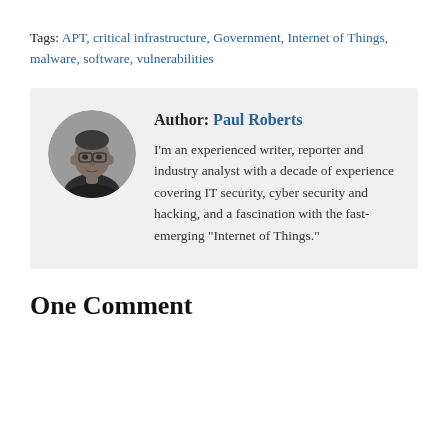Tags: APT, critical infrastructure, Government, Internet of Things, malware, software, vulnerabilities
[Figure (photo): Circular cropped black-and-white headshot photo of Paul Roberts]
Author: Paul Roberts
I'm an experienced writer, reporter and industry analyst with a decade of experience covering IT security, cyber security and hacking, and a fascination with the fast-emerging "Internet of Things."
One Comment